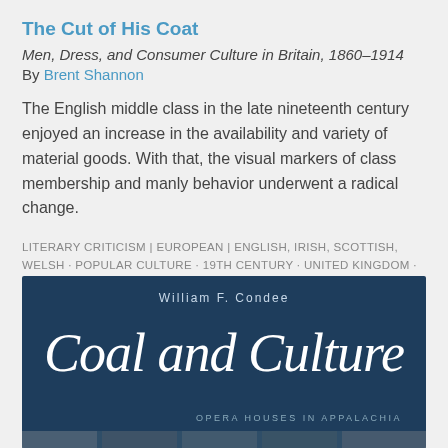The Cut of His Coat
Men, Dress, and Consumer Culture in Britain, 1860–1914
By Brent Shannon
The English middle class in the late nineteenth century enjoyed an increase in the availability and variety of material goods. With that, the visual markers of class membership and manly behavior underwent a radical change.
LITERARY CRITICISM | EUROPEAN | ENGLISH, IRISH, SCOTTISH, WELSH · POPULAR CULTURE · 19TH CENTURY · UNITED KINGDOM · VICTORIAN STUDIES
[Figure (photo): Book cover for 'Coal and Culture: Opera Houses in Appalachia' by William F. Condee. Dark navy blue cover with author name in small caps at the top, cursive-style title in white script, and subtitle 'Opera Houses in Appalachia' in small caps at the bottom right.]